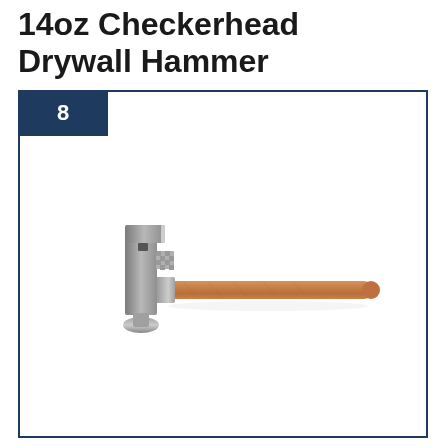14oz Checkerhead Drywall Hammer
[Figure (photo): A 14oz checkerhead drywall hammer with a silver metal head featuring a checkered striking face and a hatchet-blade top, connected to a wooden handle that is light brown/oak colored. The hammer is shown at an angle on a white background.]